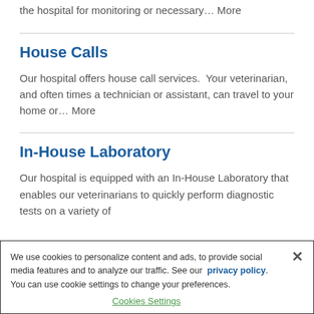the hospital for monitoring or necessary… More
House Calls
Our hospital offers house call services.  Your veterinarian, and often times a technician or assistant, can travel to your home or… More
In-House Laboratory
Our hospital is equipped with an In-House Laboratory that enables our veterinarians to quickly perform diagnostic tests on a variety of
We use cookies to personalize content and ads, to provide social media features and to analyze our traffic. See our privacy policy. You can use cookie settings to change your preferences.
Cookies Settings